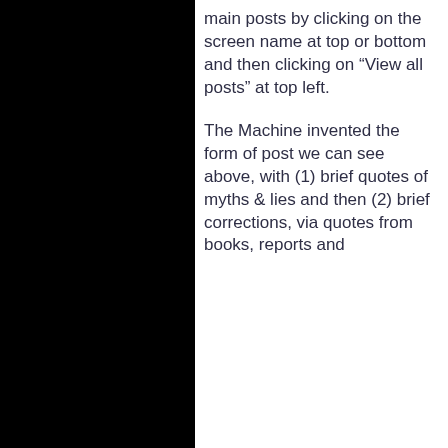main posts by clicking on the screen name at top or bottom and then clicking on “View all posts” at top left.
The Machine invented the form of post we can see above, with (1) brief quotes of myths & lies and then (2) brief corrections, via quotes from books, reports and